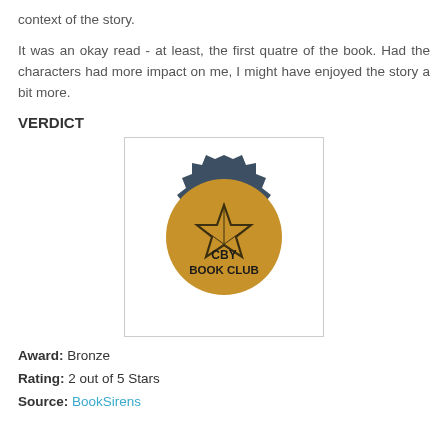context of the story.
It was an okay read - at least, the first quatre of the book. Had the characters had more impact on me, I might have enjoyed the story a bit more.
VERDICT
[Figure (illustration): CBY Book Club badge: a dark navy gear/cogwheel-shaped seal with a gold circle in the center containing a star outline and the text 'CBY BOOK CLUB' in bold black letters.]
Award: Bronze
Rating: 2 out of 5 Stars
Source: BookSirens